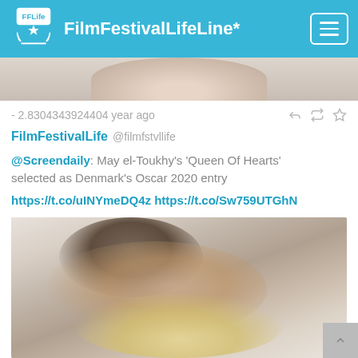FilmFestivalLifeLine*
[Figure (photo): Partial photo of a person's face, cropped at the top of the feed]
- 2.8304343924404 year ago
FilmFestivalLife @filmfstvllife
@Screendaily: May el-Toukhy's 'Queen Of Hearts' selected as Denmark's Oscar 2020 entry https://t.co/uINYmeDQ4z https://t.co/Sw759UTGhN
[Figure (photo): Photo from the film 'Queen Of Hearts' showing two people lying down, a young man and a blonde woman]